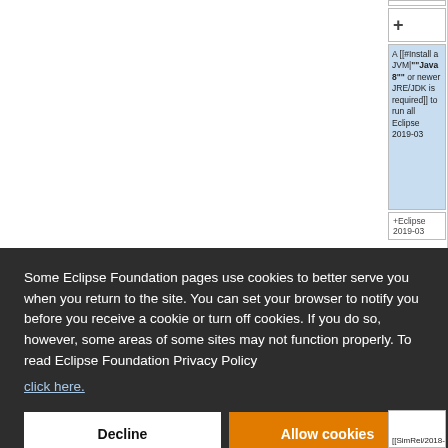[Figure (screenshot): Partial screenshot of a wiki/documentation page showing a table with text 'A [[#Install a JVM|""Java 8"" or newer JRE/JDK is required]] to run all Eclipse 2019-03' in a blue highlighted cell, with '+' row markers, on a white background.]
Some Eclipse Foundation pages use cookies to better serve you when you return to the site. You can set your browser to notify you before you receive a cookie or turn off cookies. If you do so, however, some areas of some sites may not function properly. To read Eclipse Foundation Privacy Policy click here.
Decline
Allow cookies
[[SimRel/2018-